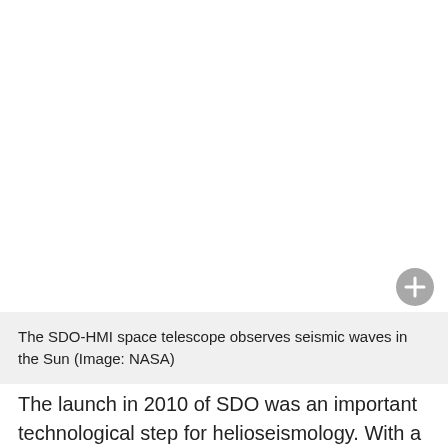[Figure (photo): White/blank image area representing the SDO-HMI space telescope observing seismic waves in the Sun, with a circular plus button overlay in the bottom-right corner.]
The SDO-HMI space telescope observes seismic waves in the Sun (Image: NASA)
The launch in 2010 of SDO was an important technological step for helioseismology. With a high spatial resolution over the entire visible solar hemisphere, SDO enables us to follow the evolution of solar active regions